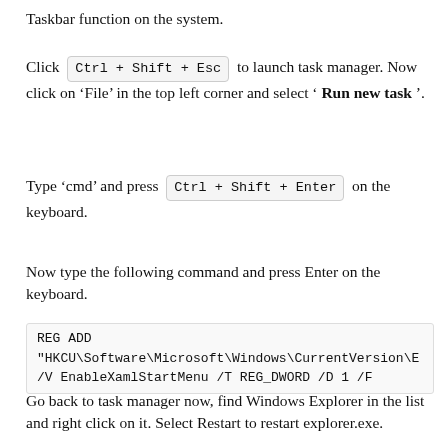Taskbar function on the system.
Click Ctrl + Shift + Esc to launch task manager. Now click on ‘File’ in the top left corner and select ‘ Run new task ’.
Type ‘cmd’ and press Ctrl + Shift + Enter on the keyboard.
Now type the following command and press Enter on the keyboard.
REG ADD "HKCU\Software\Microsoft\Windows\CurrentVersion\E /V EnableXamlStartMenu /T REG_DWORD /D 1 /F
Go back to task manager now, find Windows Explorer in the list and right click on it. Select Restart to restart explorer.exe.